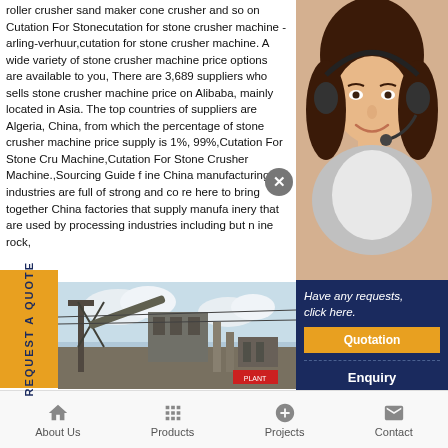roller crusher sand maker cone crusher and so on Cutation For Stonecutation for stone crusher machine - arling-verhuur,cutation for stone crusher machine. A wide variety of stone crusher machine price options are available to you, There are 3,689 suppliers who sells stone crusher machine price on Alibaba, mainly located in Asia. The top countries of suppliers are Algeria, China, from which the percentage of stone crusher machine price supply is 1%, 99%,Cutation For Stone Crusher Machine,Cutation For Stone Crusher Machine.,Sourcing Guide for ine China manufacturing industries are full of strong and co re here to bring together China factories that supply manufa inery that are used by processing industries including but n ine rock,
[Figure (photo): Woman with headset / customer service representative portrait photo]
[Figure (photo): Industrial crusher / stone crushing plant machinery photo with sky background]
REQUEST A QUOTE
Have any requests, click here.
Quotation
Enquiry
drobilkalm@gmail.com
About Us  Products  Projects  Contact